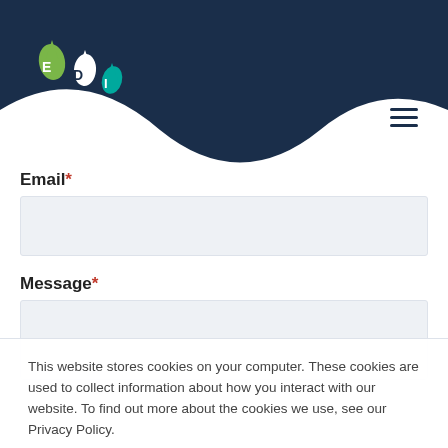[Figure (logo): EDI logo with water droplets in dark blue header with wave shape]
Email*
Message*
This website stores cookies on your computer. These cookies are used to collect information about how you interact with our website. To find out more about the cookies we use, see our Privacy Policy.

If you decline, your information won't be tracked when you visit this website. A single cookie will be used in your browser to remember your preference not to be tracked.
Accept
Decline